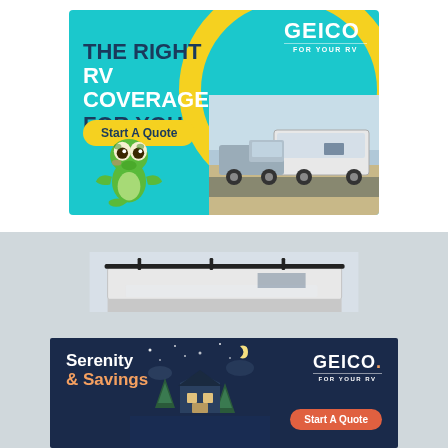[Figure (illustration): GEICO RV insurance advertisement on teal/cyan background. Features the GEICO gecko mascot, a yellow circular arc design element, headline 'THE RIGHT RV COVERAGE FOR YOU', a yellow 'Start A Quote' call-to-action button, GEICO logo with 'FOR YOUR RV' tagline, and a photo of a pickup truck towing a large RV trailer.]
[Figure (photo): Background photo showing the front/roof of a white RV trailer with black metal rack on top.]
[Figure (illustration): GEICO RV insurance advertisement on dark navy background. Features text 'Serenity & Savings' with orange accent on '& Savings', a nighttime cabin illustration, GEICO logo with 'FOR YOUR RV' tagline, and an orange-red 'Start A Quote' button.]